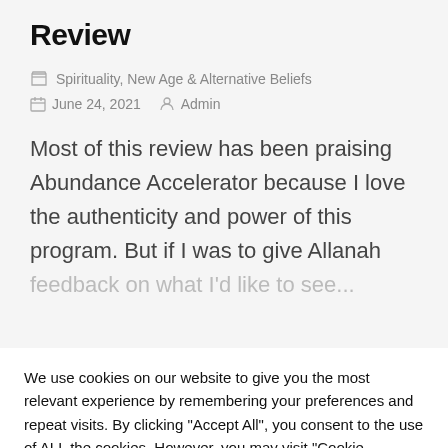Review
Spirituality, New Age & Alternative Beliefs
June 24, 2021   Admin
Most of this review has been praising Abundance Accelerator because I love the authenticity and power of this program. But if I was to give Allanah feedback on what I'd like to see…
We use cookies on our website to give you the most relevant experience by remembering your preferences and repeat visits. By clicking "Accept All", you consent to the use of ALL the cookies. However, you may visit "Cookie Settings" to provide a controlled consent.